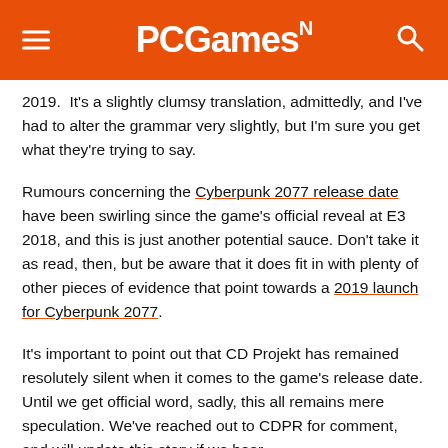PCGamesN
2019.  It's a slightly clumsy translation, admittedly, and I've had to alter the grammar very slightly, but I'm sure you get what they're trying to say.
Rumours concerning the Cyberpunk 2077 release date have been swirling since the game's official reveal at E3 2018, and this is just another potential sauce. Don't take it as read, then, but be aware that it does fit in with plenty of other pieces of evidence that point towards a 2019 launch for Cyberpunk 2077.
It's important to point out that CD Projekt has remained resolutely silent when it comes to the game's release date. Until we get official word, sadly, this all remains mere speculation. We've reached out to CDPR for comment, and will update this story if we hear...